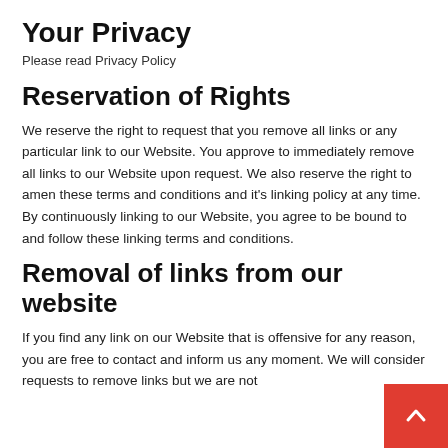Your Privacy
Please read Privacy Policy
Reservation of Rights
We reserve the right to request that you remove all links or any particular link to our Website. You approve to immediately remove all links to our Website upon request. We also reserve the right to amen these terms and conditions and it’s linking policy at any time. By continuously linking to our Website, you agree to be bound to and follow these linking terms and conditions.
Removal of links from our website
If you find any link on our Website that is offensive for any reason, you are free to contact and inform us any moment. We will consider requests to remove links but we are not